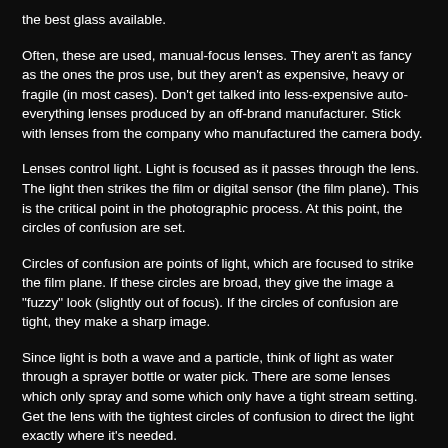the best glass available.
Often, these are used, manual-focus lenses. They aren't as fancy as the ones the pros use, but they aren't as expensive, heavy or fragile (in most cases). Don't get talked into less-expensive auto-everything lenses produced by an off-brand manufacturer. Stick with lenses from the company who manufactured the camera body.
Lenses control light. Light is focused as it passes through the lens. The light then strikes the film or digital sensor (the film plane). This is the critical point in the photographic process. At this point, the circles of confusion are set.
Circles of confusion are points of light, which are focused to strike the film plane. If these circles are broad, they give the image a "fuzzy" look (slightly out of focus). If the circles of confusion are tight, they make a sharp image.
Since light is both a wave and a particle, think of light as water through a sprayer bottle or water pick. There are some lenses which only spray and some which only have a tight stream setting. Get the lens with the tightest circles of confusion to direct the light exactly where it's needed.